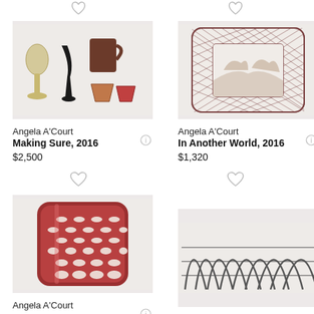[Figure (illustration): Drawing of ceramic vessels: two goblets (one cream, one black), a dark mug, and two small cups on a light background]
[Figure (illustration): Drawing of a square decorative plate with lattice/crosshatch border and a landscape scene in the center, in dark reddish-brown on light background]
Angela A'Court
Making Sure, 2016
$2,500
Angela A'Court
In Another World, 2016
$1,320
[Figure (illustration): Close-up drawing of a kitchen grater with oval holes, shown in dark reddish-brown tones on a light background]
[Figure (illustration): Drawing of overlapping curved arch shapes resembling a basket weave or woven structure, in dark gray lines on light background]
Angela A'Court
Angela A'Court